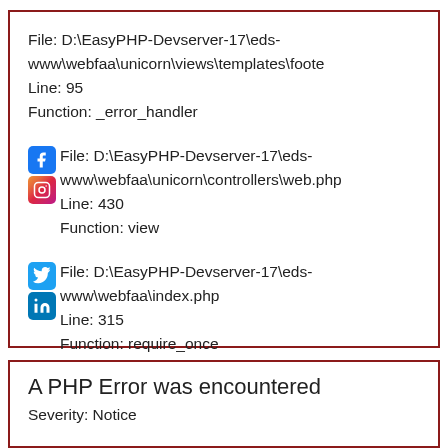File: D:\EasyPHP-Devserver-17\eds-www\webfaa\unicorn\views\templates\foote
Line: 95
Function: _error_handler
File: D:\EasyPHP-Devserver-17\eds-www\webfaa\unicorn\controllers\web.php
Line: 430
Function: view
File: D:\EasyPHP-Devserver-17\eds-www\webfaa\index.php
Line: 315
Function: require_once
A PHP Error was encountered
Severity: Notice